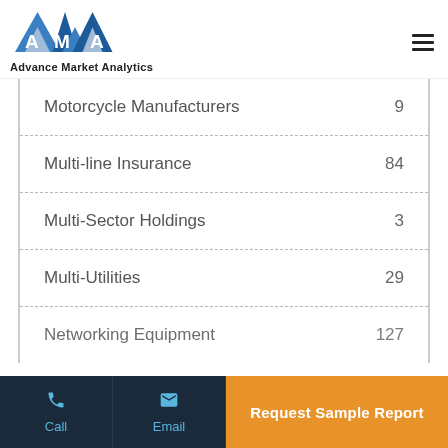Advance Market Analytics
| Category | Count |
| --- | --- |
| Motorcycle Manufacturers | 9 |
| Multi-line Insurance | 84 |
| Multi-Sector Holdings | 3 |
| Multi-Utilities | 29 |
| Networking Equipment | 127 |
Call | Email | Request Sample Report